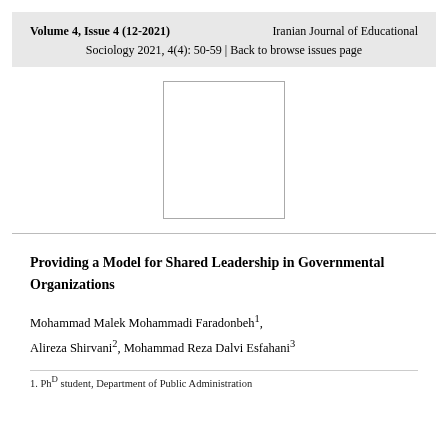Volume 4, Issue 4 (12-2021)    Iranian Journal of Educational Sociology 2021, 4(4): 50-59 | Back to browse issues page
[Figure (other): A blank white rectangle with a thin border, representing an image placeholder (likely an author photo or journal logo).]
Providing a Model for Shared Leadership in Governmental Organizations
Mohammad Malek Mohammadi Faradonbeh1, Alireza Shirvani2, Mohammad Reza Dalvi Esfahani3
1. Ph.D student, Department of Public Administration...